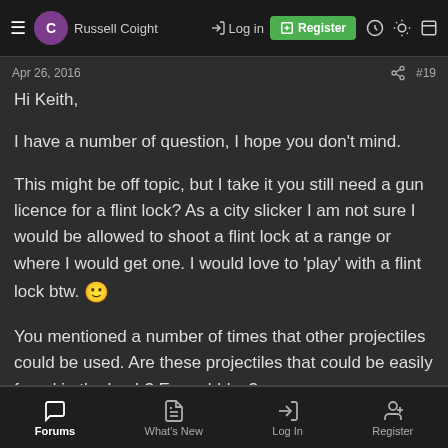Russell Coight | Log in | Register
Apr 26, 2016  #19
Hi Keith,
I have a number of question, I hope you don't mind.
This might be off topic, but I take it you still need a gun licence for a flint lock? As a city slicker I am not sure I would be allowed to shoot a flint lock at a range or where I would get one. I would love to 'play' with a flint lock btw. 🙂
You mentioned a number of times that other projectiles could be used. Are these projectiles that could be easily found in the bush? Eg; pebbles?
Forums | What's New | Log In | Register